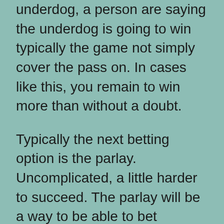underdog, a person are saying the underdog is going to win typically the game not simply cover the pass on. In cases like this, you remain to win more than without a doubt.
Typically the next betting option is the parlay. Uncomplicated, a little harder to succeed. The parlay will be a way to be able to bet multiple games with the hope of some sort of big payout by the end if all of the games succeed. The point spreads for the video games are merely the exact same as the in a straight line bets so nothing at all changes there. Regarding example, say an individual like the